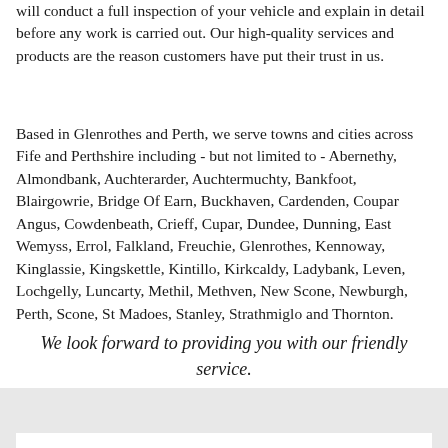will conduct a full inspection of your vehicle and explain in detail before any work is carried out. Our high-quality services and products are the reason customers have put their trust in us.
Based in Glenrothes and Perth, we serve towns and cities across Fife and Perthshire including - but not limited to - Abernethy, Almondbank, Auchterarder, Auchtermuchty, Bankfoot, Blairgowrie, Bridge Of Earn, Buckhaven, Cardenden, Coupar Angus, Cowdenbeath, Crieff, Cupar, Dundee, Dunning, East Wemyss, Errol, Falkland, Freuchie, Glenrothes, Kennoway, Kinglassie, Kingskettle, Kintillo, Kirkcaldy, Ladybank, Leven, Lochgelly, Luncarty, Methil, Methven, New Scone, Newburgh, Perth, Scone, St Madoes, Stanley, Strathmiglo and Thornton.
We look forward to providing you with our friendly service.